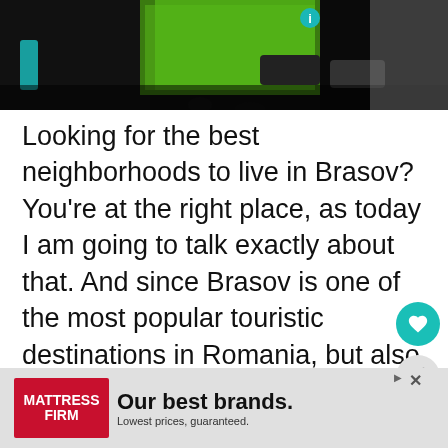[Figure (photo): Street scene photograph showing a city street at night with green-lit building, people, and cars in Brasov, Romania]
Looking for the best neighborhoods to live in Brasov? You're at the right place, as today I am going to talk exactly about that. And since Brasov is one of the most popular touristic destinations in Romania, but also one that expats love, you must stay in the best areas of the city!
Just like in most cities in the world, Brasov also has both top neighborhoods, and areas... So... the are
[Figure (other): Advertisement banner for Mattress Firm: 'Our best brands. Lowest prices, guaranteed.']